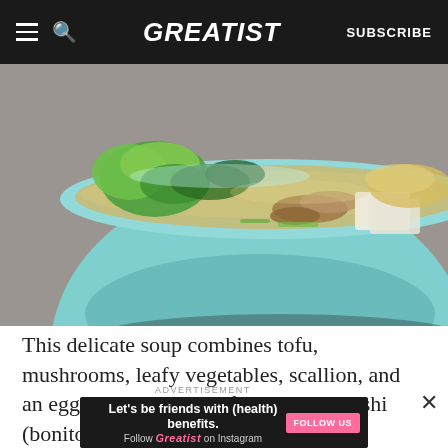GREATIST | SUBSCRIBE
[Figure (photo): Close-up of a bowl of Japanese miso/dashi soup with tofu, mushrooms, leafy green vegetables, in a light blue ceramic bowl on a grey textile surface]
This delicate soup combines tofu, mushrooms, leafy vegetables, scallion, and an egg in a broth made from instant dashi (bonito flakes and dried
ADVERTISEMENT
Let's be friends with (health) benefits. Follow GREATIST on Instagram FOLLOW US